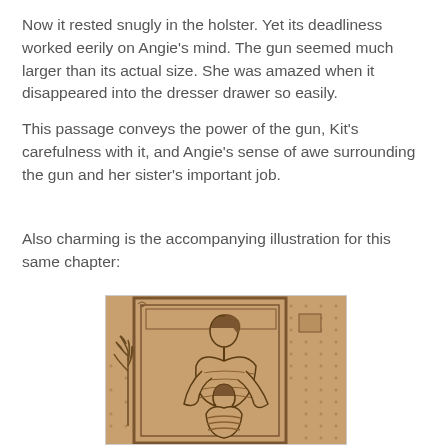Now it rested snugly in the holster. Yet its deadliness worked eerily on Angie's mind. The gun seemed much larger than its actual size. She was amazed when it disappeared into the dresser drawer so easily.
This passage conveys the power of the gun, Kit's carefulness with it, and Angie's sense of awe surrounding the gun and her sister's important job.
Also charming is the accompanying illustration for this same chapter:
[Figure (illustration): A pencil/ink illustration on aged brown paper showing two figures — an older girl or woman leaning down toward a younger child, appearing to embrace or tend to the child, with a door frame and plant visible in the background, and dotted wallpaper pattern.]